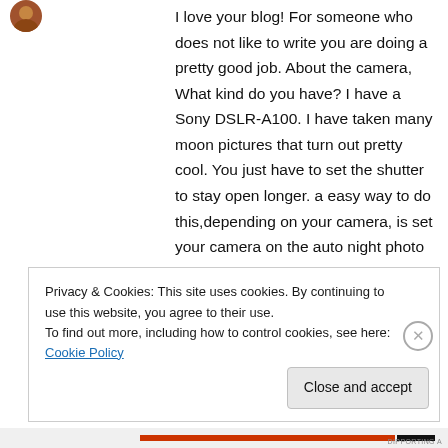[Figure (photo): Small circular avatar/profile photo, partially visible at top left]
I love your blog! For someone who does not like to write you are doing a pretty good job. About the camera, What kind do you have? I have a Sony DSLR-A100. I have taken many moon pictures that turn out pretty cool. You just have to set the shutter to stay open longer. a easy way to do this,depending on your camera, is set your camera on the auto night photo setting. That works for moon pictures. Having a tripod helps because when the shutter speed is slower the
Privacy & Cookies: This site uses cookies. By continuing to use this website, you agree to their use.
To find out more, including how to control cookies, see here: Cookie Policy